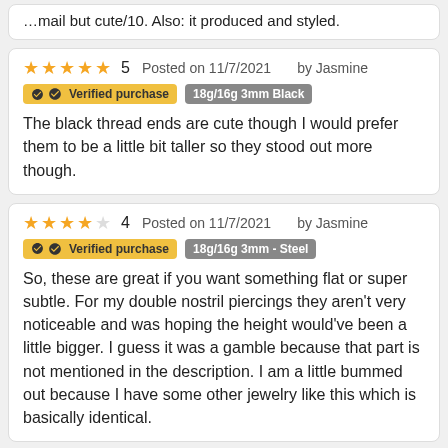…mail but cute/10. Also: it produced and styled.
★★★★★ 5  Posted on 11/7/2021  by Jasmine
Verified purchase  18g/16g  3mm Black
The black thread ends are cute though I would prefer them to be a little bit taller so they stood out more though.
★★★★  4  Posted on 11/7/2021  by Jasmine
Verified purchase  18g/16g  3mm - Steel
So, these are great if you want something flat or super subtle. For my double nostril piercings they aren't very noticeable and was hoping the height would've been a little bigger. I guess it was a gamble because that part is not mentioned in the description. I am a little bummed out because I have some other jewelry like this which is basically identical.